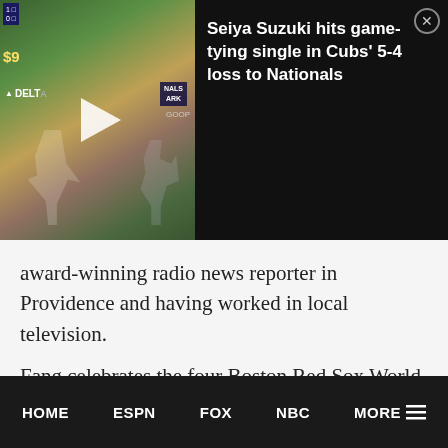[Figure (screenshot): Video thumbnail showing a baseball game with a pitcher on the mound, scoreboard in top left, Delta advertising sign, and NATIONALS PARK sign visible. A play button overlay is shown in the center of the thumbnail.]
Seiya Suzuki hits game-tying single in Cubs' 5-4 loss to Nationals
award-winning radio news reporter in Providence and having worked in local television.
Fang celebrates the four Boston Red Sox World Championships in the 21st Century, but continues to be a long-suffering Cleveland Browns fan.
VIEW ALL POSTS BY KEN FANG
Follow on Twitter
HOME   ESPN   FOX   NBC   MORE